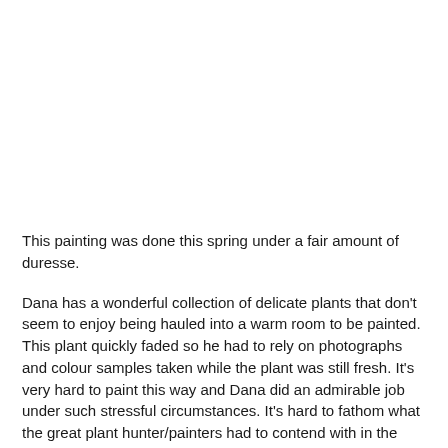[Figure (photo): Blank white area representing an image (painting) that is not visible in this crop of the page.]
This painting was done this spring under a fair amount of duresse.
Dana has a wonderful collection of delicate plants that don't seem to enjoy being hauled into a warm room to be painted. This plant quickly faded so he had to rely on photographs and colour samples taken while the plant was still fresh. It's very hard to paint this way and Dana did an admirable job under such stressful circumstances. It's hard to fathom what the great plant hunter/painters had to contend with in the